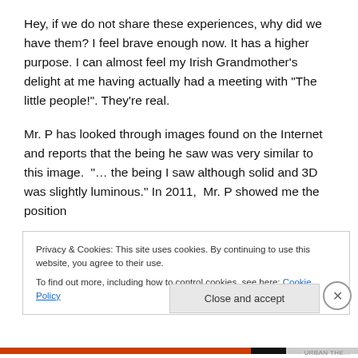Hey, if we do not share these experiences, why did we have them? I feel brave enough now. It has a higher purpose. I can almost feel my Irish Grandmother’s delight at me having actually had a meeting with “The little people!”. They’re real.
Mr. P has looked through images found on the Internet and reports that the being he saw was very similar to this image. “… the being I saw although solid and 3D was slightly luminous.” In 2011, Mr. P showed me the position
Privacy & Cookies: This site uses cookies. By continuing to use this website, you agree to their use.
To find out more, including how to control cookies, see here: Cookie Policy
Close and accept